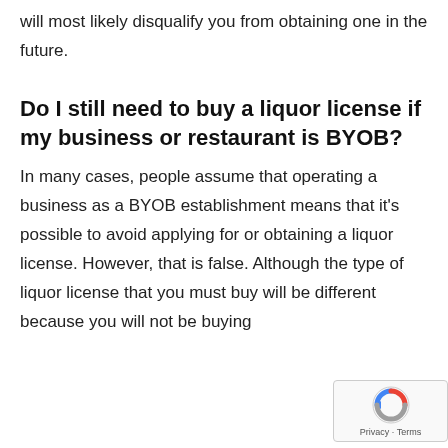will most likely disqualify you from obtaining one in the future.
Do I still need to buy a liquor license if my business or restaurant is BYOB?
In many cases, people assume that operating a business as a BYOB establishment means that it's possible to avoid applying for or obtaining a liquor license. However, that is false. Although the type of liquor license that you must buy will be different because you will not be buying